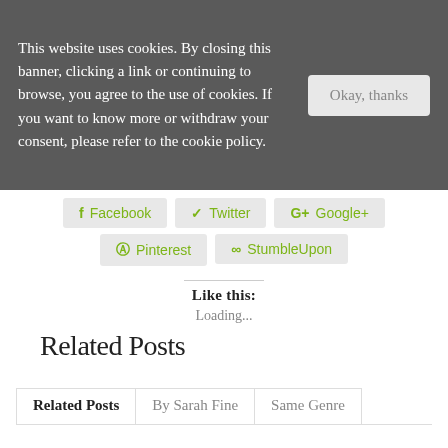This website uses cookies. By closing this banner, clicking a link or continuing to browse, you agree to the use of cookies. If you want to know more or withdraw your consent, please refer to the cookie policy.
Okay, thanks
Facebook
Twitter
Google+
Pinterest
StumbleUpon
Like this:
Loading...
Related Posts
Related Posts	By Sarah Fine	Same Genre